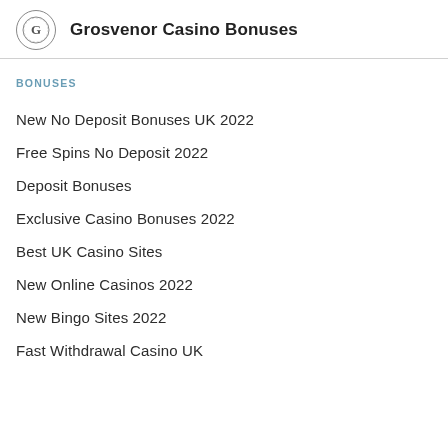Grosvenor Casino Bonuses
BONUSES
New No Deposit Bonuses UK 2022
Free Spins No Deposit 2022
Deposit Bonuses
Exclusive Casino Bonuses 2022
Best UK Casino Sites
New Online Casinos 2022
New Bingo Sites 2022
Fast Withdrawal Casino UK